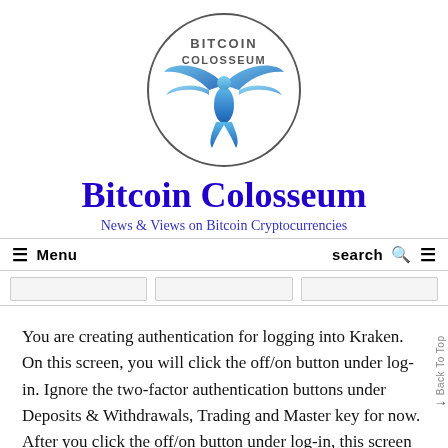[Figure (logo): Bitcoin Colosseum logo: circular border with text 'BITCOIN COLOSSEUM' at top and a blue phoenix/eagle bird illustration inside]
Bitcoin Colosseum
News & Views on Bitcoin Cryptocurrencies
Menu   search
You are creating authentication for logging into Kraken. On this screen, you will click the off/on button under log-in. Ignore the two-factor authentication buttons under Deposits & Withdrawals, Trading and Master key for now. After you click the off/on button under log-in, this screen will pop up: